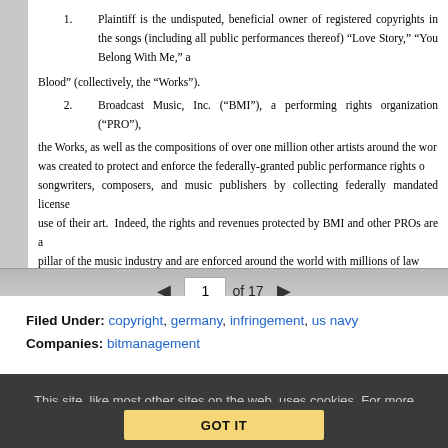1. Plaintiff is the undisputed, beneficial owner of registered copyrights in the songs (including all public performances thereof) “Love Story,” “You Belong With Me,” and “Bad Blood” (collectively, the “Works”).
2. Broadcast Music, Inc. (“BMI”), a performing rights organization (“PRO”), licenses the Works, as well as the compositions of over one million other artists around the world. BMI was created to protect and enforce the federally-granted public performance rights of songwriters, composers, and music publishers by collecting federally mandated license fees for use of their art. Indeed, the rights and revenues protected by BMI and other PROs are a central pillar of the music industry and are enforced around the world with millions of law
Filed Under: copyright, germany, infringement, us navy
Companies: bitmanagement
This site, like most other sites on the web, uses cookies. For more information, see our privacy policy
GOT IT